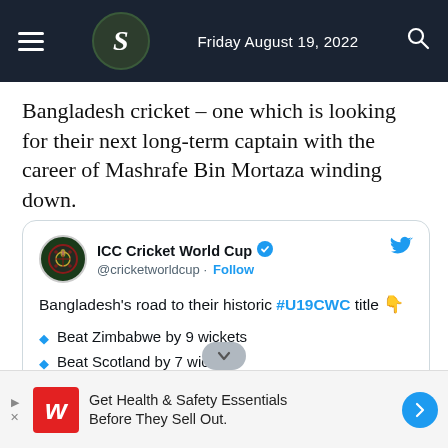Friday August 19, 2022
Bangladesh cricket – one which is looking for their next long-term captain with the career of Mashrafe Bin Mortaza winding down.
[Figure (screenshot): Embedded tweet from ICC Cricket World Cup (@cricketworldcup) with Follow button and blue verified badge. Tweet text: Bangladesh's road to their historic #U19CWC title 👇. Bullet list: Beat Zimbabwe by 9 wickets, Beat Scotland by 7 wickets, No result v Pakistan, Beat South Afric... 04 runs (OE) [partially visible]]
Get Health & Safety Essentials Before They Sell Out.